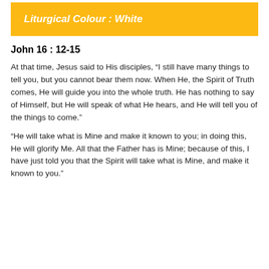Liturgical Colour : White
John 16 : 12-15
At that time, Jesus said to His disciples, “I still have many things to tell you, but you cannot bear them now. When He, the Spirit of Truth comes, He will guide you into the whole truth. He has nothing to say of Himself, but He will speak of what He hears, and He will tell you of the things to come.”
“He will take what is Mine and make it known to you; in doing this, He will glorify Me. All that the Father has is Mine; because of this, I have just told you that the Spirit will take what is Mine, and make it known to you.”